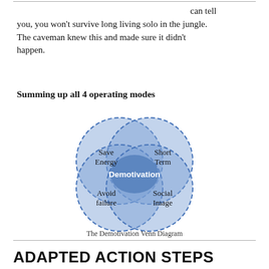can tell you, you won't survive long living solo in the jungle. The caveman knew this and made sure it didn't happen.
Summing up all 4 operating modes
[Figure (other): Venn diagram with four overlapping circles labeled Save Energy (top-left), Short Term (top-right), Avoid failure (bottom-left), Social Image (bottom-right), with 'Demotivation' in the center intersection. Circles have dashed borders in blue tones.]
The Demotivation Venn Diagram
ADAPTED ACTION STEPS